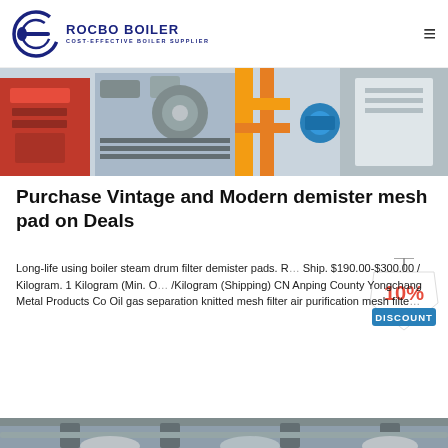ROCBO BOILER — COST-EFFECTIVE BOILER SUPPLIER
[Figure (photo): Industrial boiler equipment photo showing pipes, valves, and mechanical components with red, yellow, and blue parts]
Purchase Vintage and Modern demister mesh pad on Deals
[Figure (infographic): 10% DISCOUNT badge/tag graphic]
Long-life using boiler steam drum filter demister pads. R... Ship. $190.00-$300.00 / Kilogram. 1 Kilogram (Min. O... /Kilogram (Shipping) CN Anping County Yongchang Metal Products Co Oil gas separation knitted mesh filter air purification mesh filte…
Get Price
[Figure (photo): Industrial boiler/piping system photo from below showing pipes, tanks and equipment in grey tones]